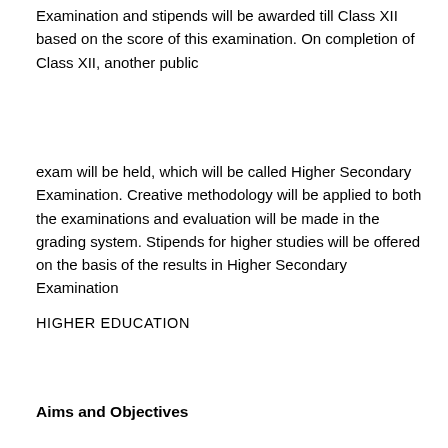Examination and stipends will be awarded till Class XII based on the score of this examination. On completion of Class XII, another public
exam will be held, which will be called Higher Secondary Examination. Creative methodology will be applied to both the examinations and evaluation will be made in the grading system. Stipends for higher studies will be offered on the basis of the results in Higher Secondary Examination
HIGHER EDUCATION
Aims and Objectives